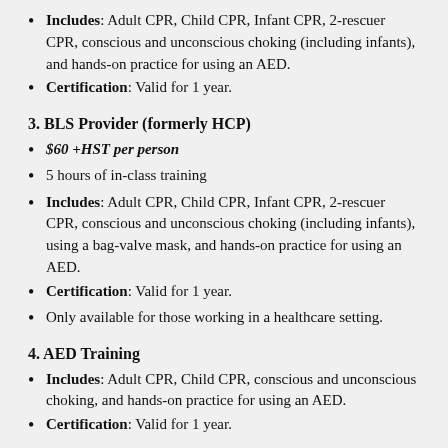Includes: Adult CPR, Child CPR, Infant CPR, 2-rescuer CPR, conscious and unconscious choking (including infants), and hands-on practice for using an AED.
Certification: Valid for 1 year.
3. BLS Provider (formerly HCP)
$60 +HST per person
5 hours of in-class training
Includes: Adult CPR, Child CPR, Infant CPR, 2-rescuer CPR, conscious and unconscious choking (including infants), using a bag-valve mask, and hands-on practice for using an AED.
Certification: Valid for 1 year.
Only available for those working in a healthcare setting.
4. AED Training
Includes: Adult CPR, Child CPR, conscious and unconscious choking, and hands-on practice for using an AED.
Certification: Valid for 1 year.
5. Child and Infant CPR (training only – not a certification course)